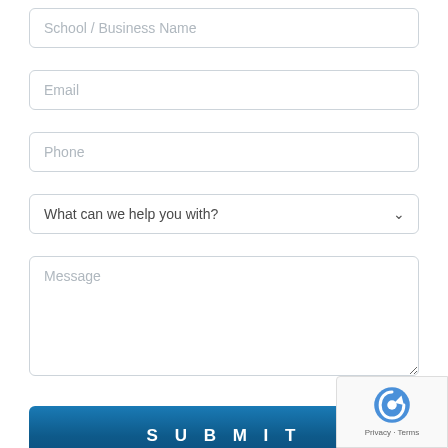School / Business Name
Email
Phone
What can we help you with?
Message
SUBMIT